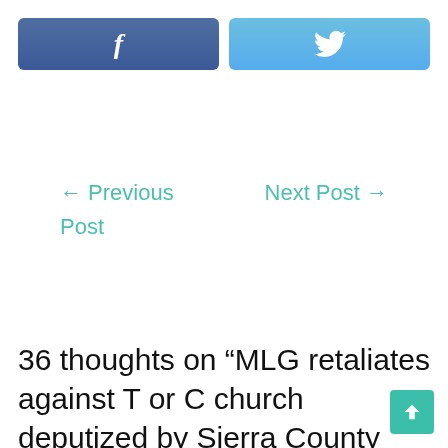[Figure (other): Facebook share button (dark blue rounded rectangle with white 'f' icon)]
[Figure (other): Twitter share button (light blue rounded rectangle with white bird icon)]
← Previous Post
Next Post →
36 thoughts on “MLG retaliates against T or C church deputized by Sierra County Sheriff”